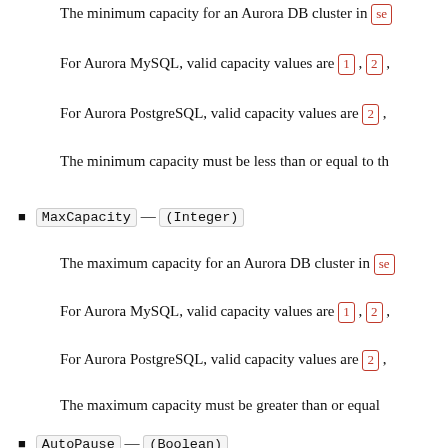The minimum capacity for an Aurora DB cluster in serverless mode.
For Aurora MySQL, valid capacity values are 1, 2, ...
For Aurora PostgreSQL, valid capacity values are 2, ...
The minimum capacity must be less than or equal to the maximum capacity.
MaxCapacity — (Integer)
The maximum capacity for an Aurora DB cluster in serverless mode.
For Aurora MySQL, valid capacity values are 1, 2, ...
For Aurora PostgreSQL, valid capacity values are 2, ...
The maximum capacity must be greater than or equal to the minimum capacity.
AutoPause — (Boolean)
A value that indicates whether to allow or disallow automatic pause for an Aurora DB serverless cluster. A DB cluster can be paused only when it's idle (it has no connections).